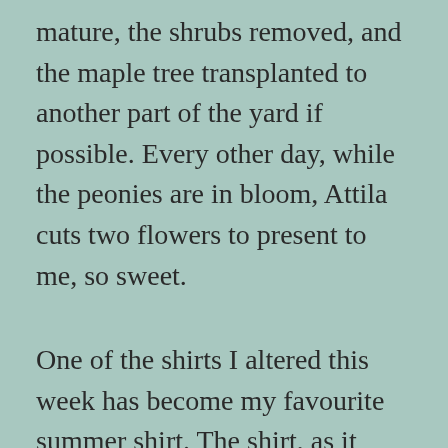mature, the shrubs removed, and the maple tree transplanted to another part of the yard if possible. Every other day, while the peonies are in bloom, Attila cuts two flowers to present to me, so sweet.
One of the shirts I altered this week has become my favourite summer shirt. The shirt, as it was, would have looked good on me 20 years ago, and many pounds ago, but in the present reality it didn’t fit quite right. So the shirt was shortened, the shoulder seams shirred to fit, and the sleeves cut to 3/4 length. It is comfortable, and it doesn’t accent the